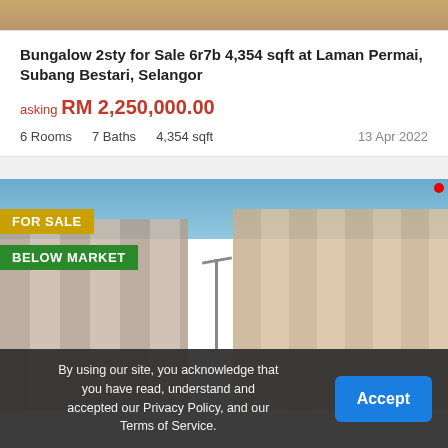[Figure (photo): Top portion of a property/building exterior photo, cropped]
Bungalow 2sty for Sale 6r7b 4,354 sqft at Laman Permai, Subang Bestari, Selangor
asking RM 2,250,000.00
6 Rooms   7 Baths   4,354 sqft   13 Apr 2022
[Figure (photo): Apartment buildings exterior photo with FOR SALE and BELOW MARKET badges]
By using our site, you acknowledge that you have read, understand and accepted our Privacy Policy, and our Terms of Service.